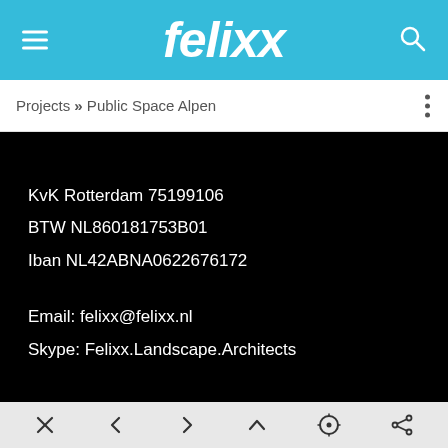felixx
Projects » Public Space Alpen
KvK Rotterdam 75199106
BTW NL860181753B01
Iban NL42ABNA0622676172
Email: felixx@felixx.nl
Skype: Felixx.Landscape.Architects
× < > ^ ◎ ⤴